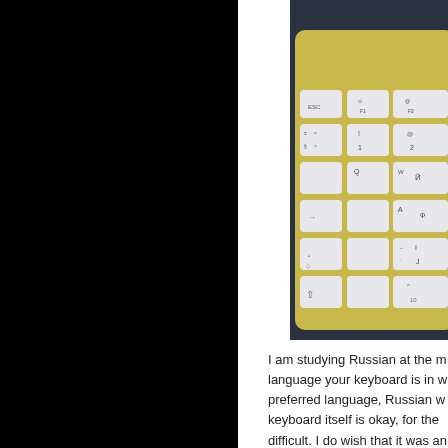[Figure (photo): A gold-framed Apple Magic Keyboard with Russian Cyrillic keycaps, photographed on a dark navy/charcoal background. Left portion of the image is cut by the page edge.]
I am studying Russian at the m language your keyboard is in w preferred language, Russian w keyboard itself is okay, for the difficult. I do wish that it was an deskton... but I think I can get u